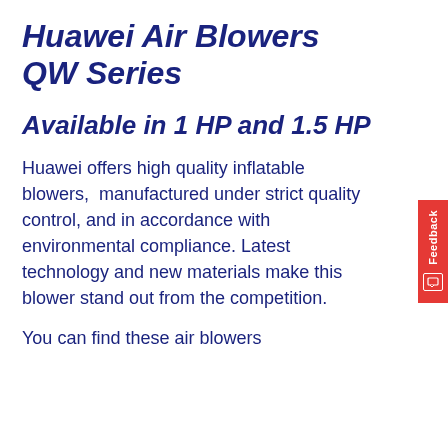Huawei Air Blowers QW Series
Available in 1 HP and 1.5 HP
Huawei offers high quality inflatable blowers, manufactured under strict quality control, and in accordance with environmental compliance. Latest technology and new materials make this blower stand out from the competition.
You can find these air blowers